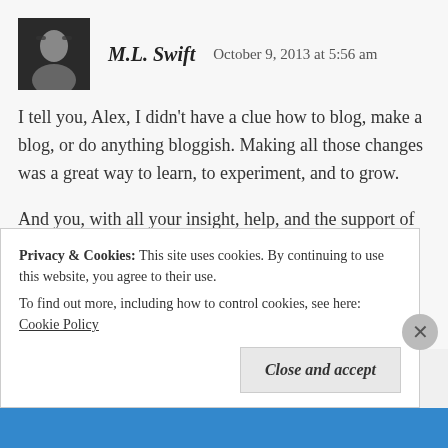M.L. Swift   October 9, 2013 at 5:56 am
I tell you, Alex, I didn't have a clue how to blog, make a blog, or do anything bloggish. Making all those changes was a great way to learn, to experiment, and to grow.
And you, with all your insight, help, and the support of IWSG were my leaning post. Thanks for making this year so incredible.
Reply
Privacy & Cookies: This site uses cookies. By continuing to use this website, you agree to their use.
To find out more, including how to control cookies, see here: Cookie Policy
Close and accept